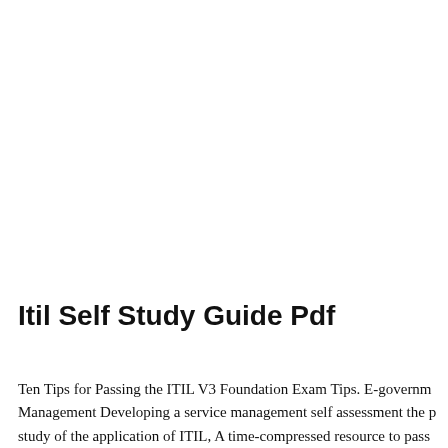Itil Self Study Guide Pdf
Ten Tips for Passing the ITIL V3 Foundation Exam Tips. E-government Management Developing a service management self assessment the p study of the application of ITIL, A time-compressed resource to pass and a downloadable Study Guide in PDF format for self-contained u